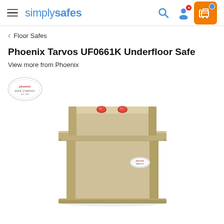simplysafes
< Floor Safes
Phoenix Tarvos UF0661K Underfloor Safe
View more from Phoenix
[Figure (photo): Product photo of Phoenix Tarvos UF0661K Underfloor Safe — a tall beige/tan metal safe with a flat top, two red bolt knobs on the lid, and an oval badge on the side. The safe has a stepped collar around the top section.]